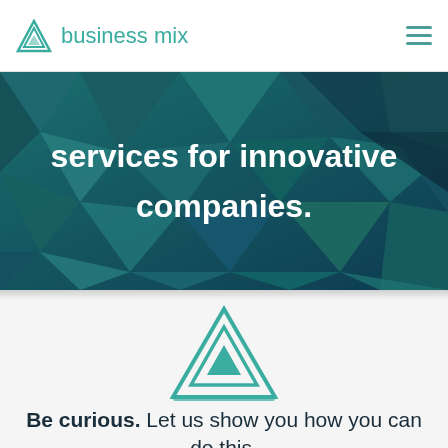business mix
[Figure (illustration): Hero banner with geometric low-poly teal/dark-blue triangular pattern background with white bold text: 'services for innovative companies.']
[Figure (logo): Business mix double-triangle logo icon in teal, large standalone version]
Be curious. Let us show you how you can do this.